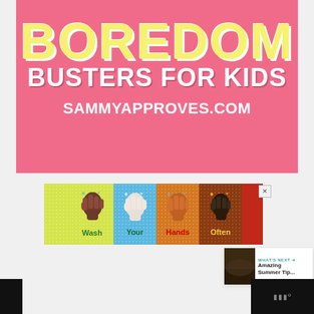[Figure (illustration): Pink banner with yellow outlined text 'BOREDOM' and white bold text 'BUSTERS FOR KIDS' and 'SAMMYAPPROVES.COM']
[Figure (infographic): Wash Your Hands Often banner ad with four colored panels showing diverse cartoon hands and labels: Wash, Your, Hands, Often]
[Figure (infographic): Teal heart/like button icon with count 5 and share button below]
[Figure (screenshot): What's Next card showing thumbnail and text 'Amazing Summer Tip...' with arrow]
[Figure (screenshot): Bottom navigation bars, black background with Mubert music icon on right side]